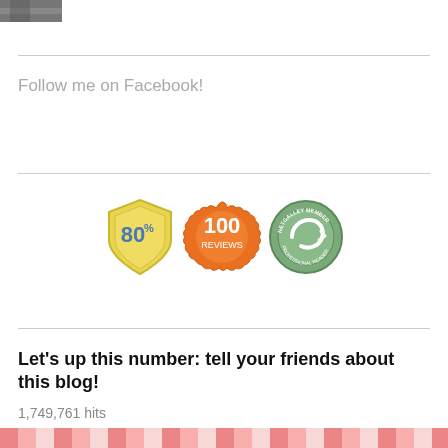[Figure (photo): Partial photo cropped at top-left corner, showing dark and light tones]
Follow me on Facebook!
[Figure (infographic): Three badges: a gold shield with '80%', an orange flower with '100 REVIEWS', and a green NetGalley Member Professional Reader circle badge]
Let's up this number: tell your friends about this blog!
1,749,761 hits